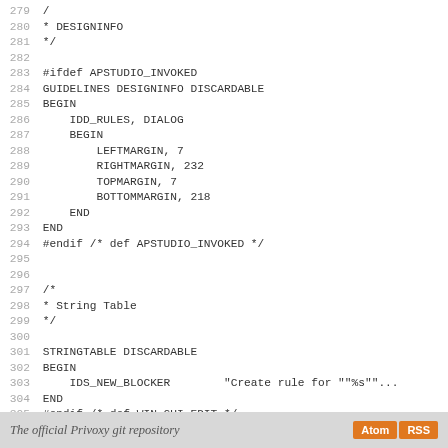Code listing lines 279-307 showing resource file content with #ifdef APSTUDIO_INVOKED, GUIDELINES DESIGNINFO DISCARDABLE, STRINGTABLE DISCARDABLE sections, and #endif comments for APSTUDIO_INVOKED, WIN_GUI_EDIT, and English (U.S.) resources
The official Privoxy git repository